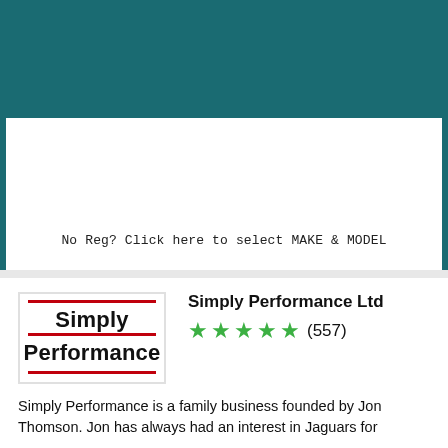[Figure (screenshot): Top section of a webpage with a dark teal header/border area and a white content area containing a vehicle registration search interface]
No Reg? Click here to select MAKE & MODEL
[Figure (logo): Simply Performance logo with red horizontal lines above and below the text 'Simply Performance']
Simply Performance Ltd
★★★★★ (557)
Simply Performance is a family business founded by Jon Thomson. Jon has always had an interest in Jaguars for